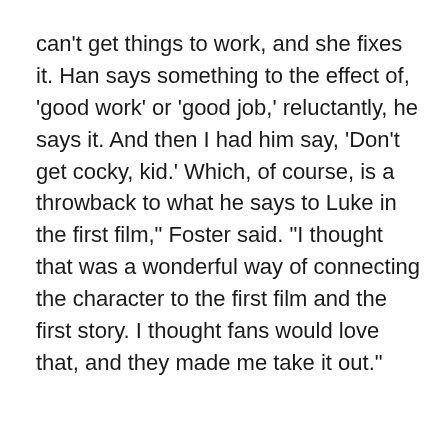can't get things to work, and she fixes it. Han says something to the effect of, 'good work' or 'good job,' reluctantly, he says it. And then I had him say, 'Don't get cocky, kid.' Which, of course, is a throwback to what he says to Luke in the first film," Foster said. "I thought that was a wonderful way of connecting the character to the first film and the first story. I thought fans would love that, and they made me take it out."